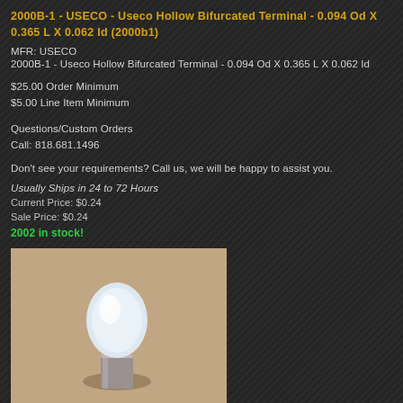2000B-1 - USECO - Useco Hollow Bifurcated Terminal - 0.094 Od X 0.365 L X 0.062 Id (2000b1)
MFR: USECO
2000B-1 - Useco Hollow Bifurcated Terminal - 0.094 Od X 0.365 L X 0.062 Id
$25.00 Order Minimum
$5.00 Line Item Minimum
Questions/Custom Orders
Call: 818.681.1496
Don't see your requirements? Call us, we will be happy to assist you.
Usually Ships in 24 to 72 Hours
Current Price: $0.24
Sale Price: $0.24
2002 in stock!
[Figure (photo): Photo of a small white/silver hollow bifurcated terminal component against a beige/tan background]